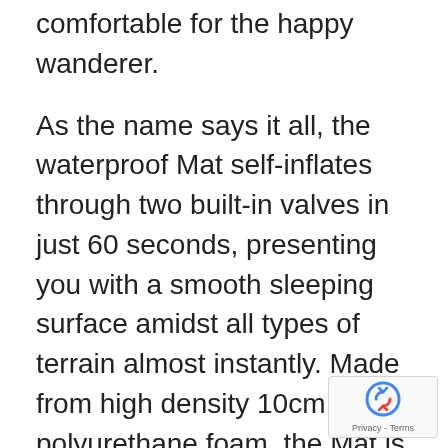comfortable for the happy wanderer.
As the name says it all, the waterproof Mat self-inflates through two built-in valves in just 60 seconds, presenting you with a smooth sleeping surface amidst all types of terrain almost instantly. Made from high density 10cm thick polyurethane foam, the Mat is wrapped with a faux suede surface top and anti-slip polyester pongee bottom. That way, you lie on a smooth and comfortable surface with a mat that does not slip or move with your every turn while sleeping or shifting around.
Need more resting surface? Just connect the two mats via the built-in buttons for an enlarged area. In fact, you can extend the mat multiple times through the simple and convenient process. And when all is done, just roll up the deflated mat and packed it into the carry